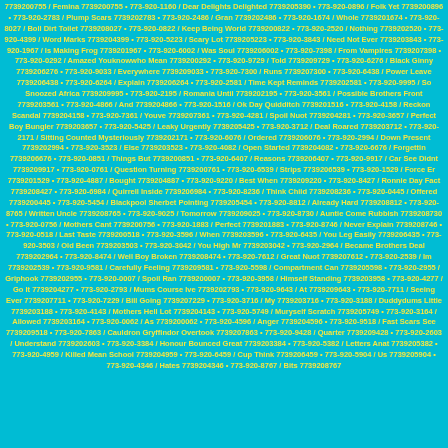7739200755 / Femina 7739200755 • 773-920-1160 / Dear Delights Delighted 7739205390 • 773-920-0896 / Folk Yet 7739200896 • 773-920-2783 / Plump Scars 7739202783 • 773-920-2486 / Gran 7739202486 • 773-920-1674 / Whole 7739201674 • 773-920-8027 / Boll Dirt Toilet 7739208027 • 773-920-0822 / Keep Being World 7739200822 • 773-920-2520 / Nothing 7739202520 • 773-920-4399 / Word Marks 7739204399 • 773-920-5223 / Scary Lot 7739205223 • 773-920-3843 / Need Not Ever 7739203843 • 773-920-1967 / Is Making Frog 7739201967 • 773-920-6002 / Was Soul 7739206002 • 773-920-7398 / From Vampires 7739207398 • 773-920-0292 / Amazed Youknowwho Mean 7739200292 • 773-920-9729 / Told 7739209729 • 773-920-6276 / Black Ginny 7739206276 • 773-920-9033 / Everywhere 7739209033 • 773-920-7300 / Runs 7739207300 • 773-920-6438 / Power Leave 7739206438 • 773-920-6264 / Explain 7739206264 • 773-920-2581 / Time Kept Reminds 7739202581 • 773-920-9995 / So Snoozed Africa 7739209995 • 773-920-2195 / Romania Until 7739202195 • 773-920-3561 / Possible Brothers Front 7739203561 • 773-920-4866 / And 7739204866 • 773-920-1516 / Ok Day Quidditch 7739201516 • 773-920-4158 / Reckon Scandal 7739204158 • 773-920-7361 / Youve 7739207361 • 773-920-4281 / Spoil Nuot 7739204281 • 773-920-3657 / Perfect Boy Bungler 7739203657 • 773-920-5425 / Leaky Urgently 7739205425 • 773-920-3712 / Deal Roared 7739203712 • 773-920-2171 / Sitting Counted Mysteriously 7739202171 • 773-920-6076 / Ordered 7739206076 • 773-920-2994 / Down Present 7739202994 • 773-920-3523 / Else 7739203523 • 773-920-4082 / Open Started 7739204082 • 773-920-6676 / Forgettin 7739206676 • 773-920-0851 / Things But 7739200851 • 773-920-6407 / Reasons 7739206407 • 773-920-9917 / Car See Didnt 7739209917 • 773-920-0761 / Question Turning 7739200761 • 773-920-6539 / Strips 7739206539 • 773-920-1529 / Force Er 7739201529 • 773-920-4887 / Bought 7739204887 • 773-920-9220 / Best When 7739209220 • 773-920-8427 / Ronnie Day Fact 7739208427 • 773-920-6984 / Quirrell Inside 7739206984 • 773-920-8236 / Think Child 7739208236 • 773-920-0445 / Offered 7739200445 • 773-920-5454 / Blackpool Sherbet Pointing 7739205454 • 773-920-8812 / Already Hard 7739208812 • 773-920-8765 / Written Uncle 7739208765 • 773-920-9025 / Tomorrow 7739209025 • 773-920-8730 / Auntie Come Rubbish 7739208730 • 773-920-0756 / Mothers Cant 7739200756 • 773-920-1883 / Perfect 7739201883 • 773-920-8746 / Never Explain 7739208746 • 773-920-0518 / Last Taste 7739200518 • 773-920-3596 / When 7739203596 • 773-920-6435 / You Leg Easily 7739206435 • 773-920-3503 / Old Been 7739203503 • 773-920-3042 / You High Mr 7739203042 • 773-920-2964 / Became Brothers Deal 7739202964 • 773-920-8474 / Well Boy Broken 7739208474 • 773-920-7612 / Great Nuot 7739207612 • 773-920-2539 / Im 7739202539 • 773-920-9581 / Carefully Feeling 7739209581 • 773-920-5598 / Compartment Can 7739205598 • 773-920-2955 / Griphook 7739202955 • 773-920-0007 / Spoil Ran 7739200007 • 773-920-3958 / Himself Standing 7739203958 • 773-920-4277 / Go It 7739204277 • 773-920-2793 / Mums Course Ive 7739202793 • 773-920-9643 / At 7739209643 • 773-920-7711 / Seeing Ever 7739207711 • 773-920-7229 / Bill Going 7739207229 • 773-920-3716 / My 7739203716 • 773-920-3188 / Duddydums Little 7739203188 • 773-920-4143 / Mothers Hell Lot 7739204143 • 773-920-5749 / Muryself Scratch 7739205749 • 773-920-3164 / Allowed 7739203164 • 773-920-0062 / As 7739200062 • 773-920-4596 / Anger 7739204596 • 773-920-9518 / Fast Scars See 7739209518 • 773-920-7863 / Cauldron Gryffindor Overtook 7739207863 • 773-920-9428 / Quarter 7739209428 • 773-920-2603 / Understand 7739202603 • 773-920-3384 / Honour Bounced Great 7739203384 • 773-920-5382 / Letters Anat 7739205382 • 773-920-4959 / Killed Mean School 7739204959 • 773-920-6459 / Cup Think 7739206459 • 773-920-5904 / Us 7739205904 • 773-920-4346 / Hates 7739204346 • 773-920-8767 / Bits 7739208767